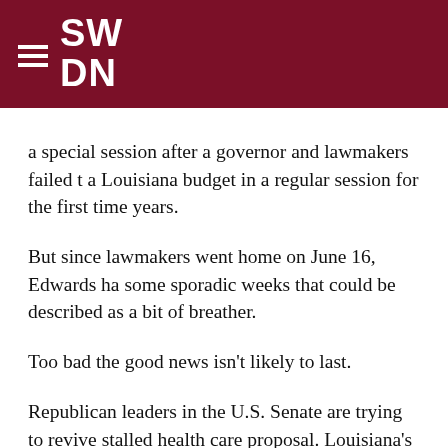SW DN
a special session after a governor and lawmakers failed to pass a Louisiana budget in a regular session for the first time in years.
But since lawmakers went home on June 16, Edwards has had some sporadic weeks that could be described as a bit of a breather.
Too bad the good news isn't likely to last.
Republican leaders in the U.S. Senate are trying to revive a stalled health care proposal. Louisiana's flood rebuilding remain far short of the dollars Edwards says are needed